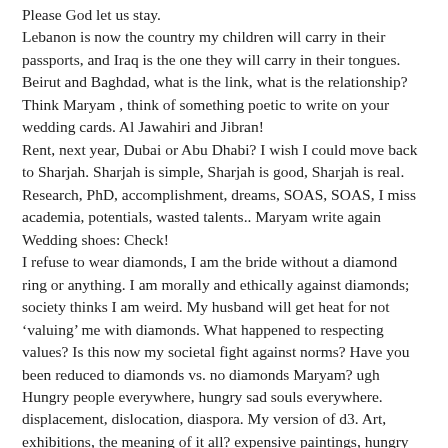Please God let us stay.
Lebanon is now the country my children will carry in their passports, and Iraq is the one they will carry in their tongues. Beirut and Baghdad, what is the link, what is the relationship? Think Maryam , think of something poetic to write on your wedding cards. Al Jawahiri and Jibran!
Rent, next year, Dubai or Abu Dhabi? I wish I could move back to Sharjah. Sharjah is simple, Sharjah is good, Sharjah is real. Research, PhD, accomplishment, dreams, SOAS, SOAS, I miss academia, potentials, wasted talents.. Maryam write again Wedding shoes: Check!
I refuse to wear diamonds, I am the bride without a diamond ring or anything. I am morally and ethically against diamonds; society thinks I am weird. My husband will get heat for not ‘valuing’ me with diamonds. What happened to respecting values? Is this now my societal fight against norms? Have you been reduced to diamonds vs. no diamonds Maryam? ugh
Hungry people everywhere, hungry sad souls everywhere. displacement, dislocation, diaspora. My version of d3. Art, exhibitions, the meaning of it all? expensive paintings, hungry artists, auction houses..
Pray, Fast, Read Quran.. Feel something Maryam feel.